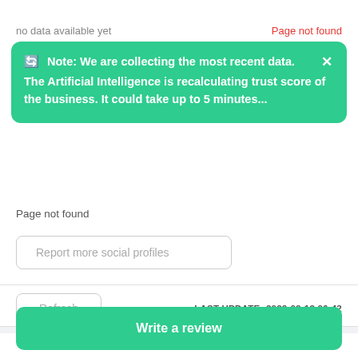no data available yet
Page not found
Note: We are collecting the most recent data. The Artificial Intelligence is recalculating trust score of the business. It could take up to 5 minutes...
Page not found
Report more social profiles
Refresh
LAST UPDATE: 2022-02-13 06:42
Write a review